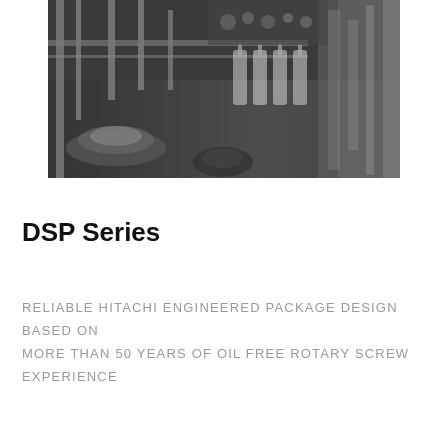[Figure (photo): Black and white industrial photo of a rotary screw compressor or bottling/filling machine with pipes, mechanical components, and suspended bottles in a factory setting.]
DSP Series
RELIABLE HITACHI ENGINEERED PACKAGE DESIGN BASED ON MORE THAN 50 YEARS OF OIL FREE ROTARY SCREW EXPERIENCE